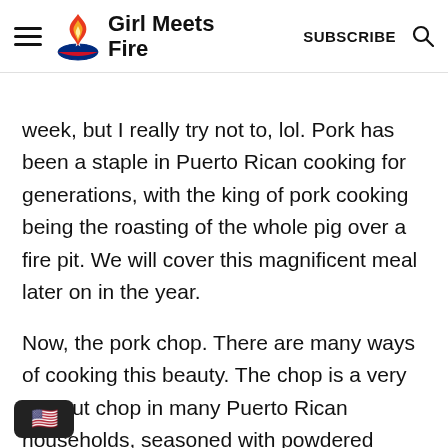Girl Meets Fire | SUBSCRIBE
I could cut pork in general at least twice a week, but I really try not to, lol. Pork has been a staple in Puerto Rican cooking for generations, with the king of pork cooking being the roasting of the whole pig over a fire pit. We will cover this magnificent meal later on in the year.
Now, the pork chop. There are many ways of cooking this beauty. The chop is a very thin cut chop in many Puerto Rican households, seasoned with powdered adobo and then pan-fried in high heat oil. This oil could also be a mix of oil and butter. Once fried, they are